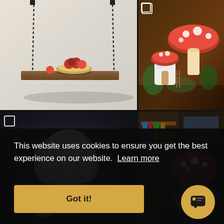[Figure (photo): 3D render of a rustic wooden hanging shelf suspended by metal chains, with a bowl of fruit (apples) and one apple on the shelf, on a light beige/grey background]
[Figure (photo): 3D render of a fantasy mushroom house scene with a large red-capped mushroom and a smaller white mushroom-shaped house with a door, surrounded by colorful plants and foliage]
[Figure (photo): 3D animated character with white fluffy hair and a dark face, holding a green leaf, with dark background]
[Figure (photo): 3D animated mushroom character with a brown-red cap with white spots, sitting in a cozy room with bookshelves, holding a blue mug]
This website uses cookies to ensure you get the best experience on our website.  Learn more
Got it!